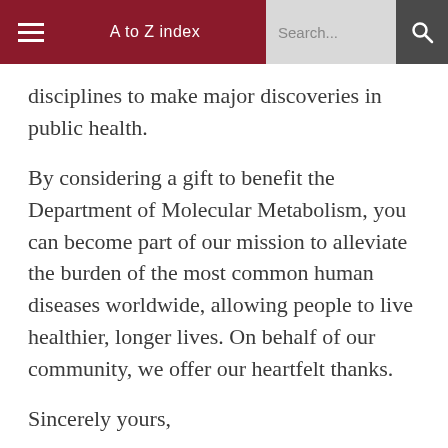A to Z index  Search...
disciplines to make major discoveries in public health.
By considering a gift to benefit the Department of Molecular Metabolism, you can become part of our mission to alleviate the burden of the most common human diseases worldwide, allowing people to live healthier, longer lives. On behalf of our community, we offer our heartfelt thanks.
Sincerely yours,
Brendan Manning, Ph.D.
Professor and Acting Chair
Department of Molecular Metabolism